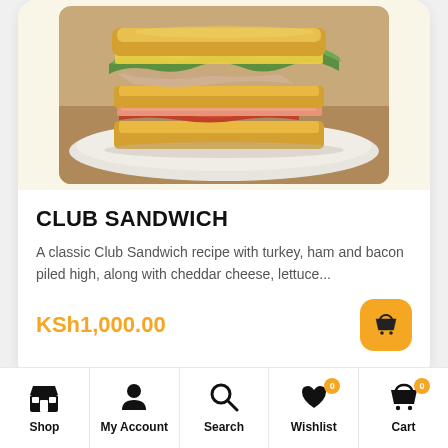[Figure (photo): Photo of a club sandwich stacked high with turkey, ham, bacon, lettuce and cheese on toasted bread, shown on a white plate]
CLUB SANDWICH
A classic Club Sandwich recipe with turkey, ham and bacon piled high, along with cheddar cheese, lettuce...
KSh1,000.00
Shop | My Account | Search | Wishlist 0 | Cart 0